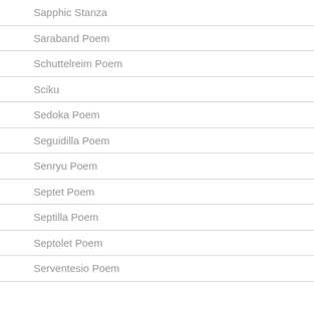Sapphic Stanza
Saraband Poem
Schuttelreim Poem
Sciku
Sedoka Poem
Seguidilla Poem
Senryu Poem
Septet Poem
Septilla Poem
Septolet Poem
Serventesio Poem